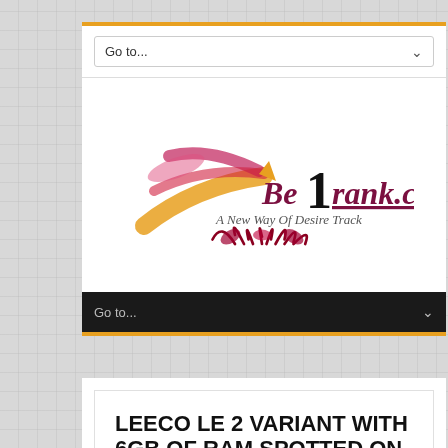[Figure (logo): Be1rank.com logo with pencil/brush graphic and tagline 'A New Way Of Desire Track']
LEECO LE 2 VARIANT WITH 6GB OF RAM SPOTTED ON BENCHMARK WEBSITE